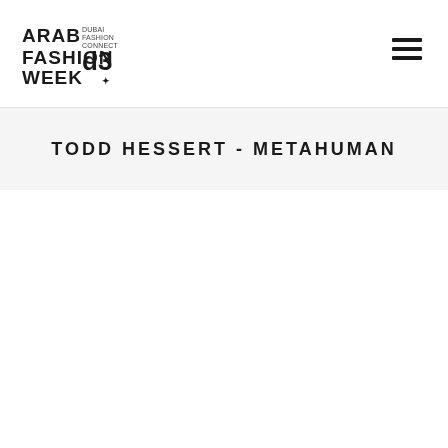[Figure (logo): Arab Fashion Week Dubai Fashion Connect logo with stylized text and D3 emblem]
[Figure (other): Hamburger menu icon (three horizontal lines) in top right corner]
TODD HESSERT - METAHUMAN